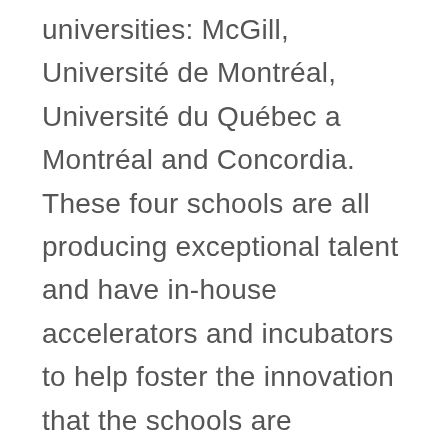universities: McGill, Université de Montréal, Université du Québec a Montréal and Concordia. These four schools are all producing exceptional talent and have in-house accelerators and incubators to help foster the innovation that the schools are producing. Montréal is also number 1 in North America and 7th worldwide as a destination of choice for international students